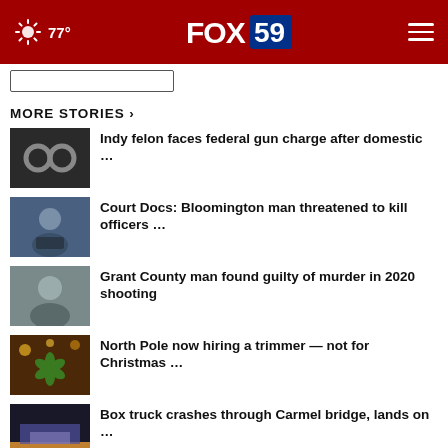77° FOX 59
MORE STORIES ›
Indy felon faces federal gun charge after domestic …
Court Docs: Bloomington man threatened to kill officers …
Grant County man found guilty of murder in 2020 shooting
North Pole now hiring a trimmer — not for Christmas …
Box truck crashes through Carmel bridge, lands on …